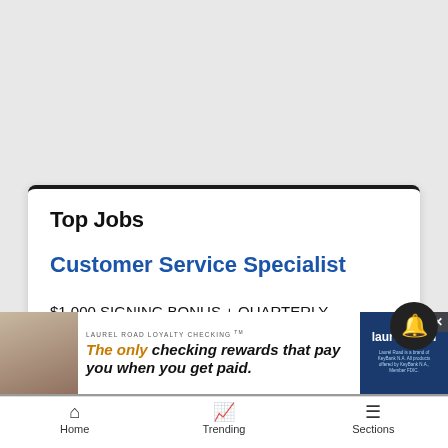Top Jobs
Customer Service Specialist
$1,000 SIGNING BONUS + QUARTERLY PRODUCTION BONUSES CUSTOMER BANKING SPECIALISTS – Craig & Steamboat – Flexible workplace focused on
[Figure (advertisement): Laurel Road Loyalty Checking advertisement with photo of woman and text: The only checking rewards that pay you when you get paid.]
Home   Trending   Sections